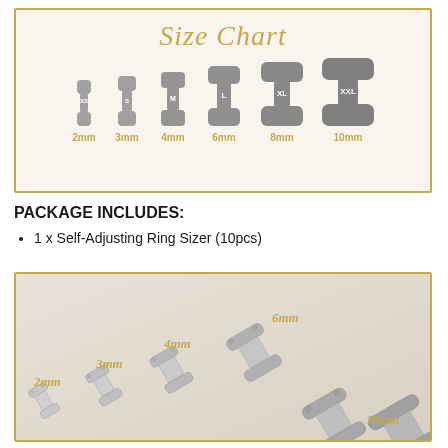Size Chart
[Figure (illustration): Six ring sizer shapes in increasing sizes labeled XS (2mm), S (3mm), M (4mm), L (6mm), XL (8mm), XXL (10mm), shown as grey hourglass/bone shaped icons with size labels below in gold text]
PACKAGE INCLUDES:
1 x  Self-Adjusting Ring Sizer (10pcs)
[Figure (photo): Photograph of actual transparent/clear ring sizer adjusters in 6 sizes arranged diagonally from bottom-left to top-right, with gold italic size labels: 2mm, 3mm, 4mm, 6mm, and 10mm visible]